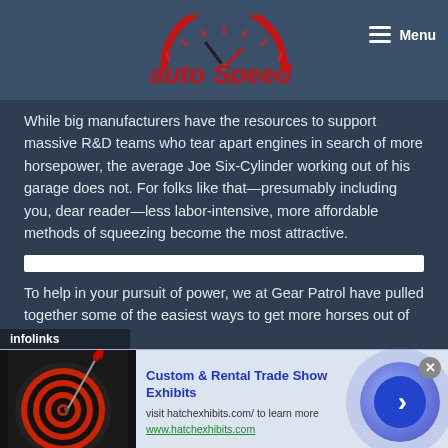autoSpeed | Menu
While big manufacturers have the resources to support massive R&D teams who tear apart engines in search of more horsepower, the average Joe Six-Cylinder working out of his garage does not. For folks like that—presumably including you, dear reader—less labor-intensive, more affordable methods of squeezing become the most attractive.
To help in your pursuit of power, we at Gear Patrol have pulled together some of the easiest ways to get more horses out of
[Figure (other): Infolinks advertisement overlay — Custom & Rental Trade Show Exhibits. Image: dartboard with red dart. Text: visit hatchexhibits.com/ to learn more, www.hatchexhibits.com]